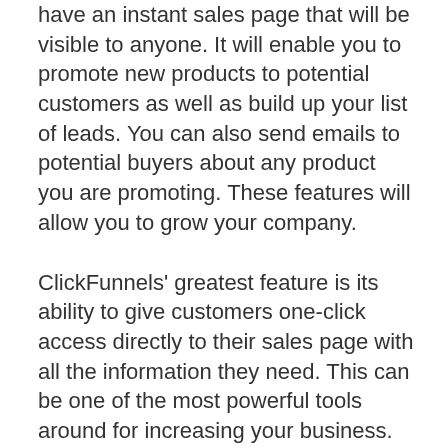have an instant sales page that will be visible to anyone. It will enable you to promote new products to potential customers as well as build up your list of leads. You can also send emails to potential buyers about any product you are promoting. These features will allow you to grow your company.
ClickFunnels' greatest feature is its ability to give customers one-click access directly to their sales page with all the information they need. This can be one of the most powerful tools around for increasing your business. This powerful online marketing tool can help you grow your business and increase your